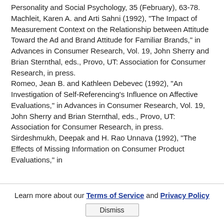Personality and Social Psychology, 35 (February), 63-78.
Machleit, Karen A. and Arti Sahni (1992), "The Impact of Measurement Context on the Relationship between Attitude Toward the Ad and Brand Attitude for Familiar Brands," in Advances in Consumer Research, Vol. 19, John Sherry and Brian Sternthal, eds., Provo, UT: Association for Consumer Research, in press.
Romeo, Jean B. and Kathleen Debevec (1992), "An Investigation of Self-Referencing's Influence on Affective Evaluations," in Advances in Consumer Research, Vol. 19, John Sherry and Brian Sternthal, eds., Provo, UT: Association for Consumer Research, in press.
Sirdeshmukh, Deepak and H. Rao Unnava (1992), "The Effects of Missing Information on Consumer Product Evaluations," in
Learn more about our Terms of Service and Privacy Policy  Dismiss